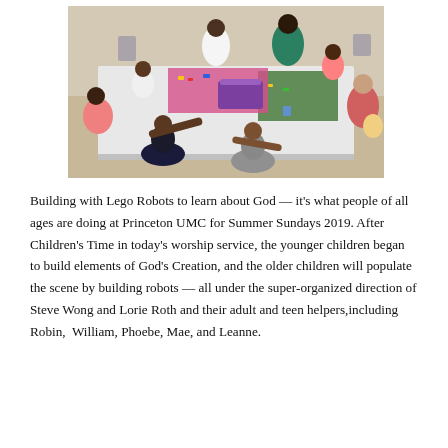[Figure (photo): Children and adults gathered around a large white table doing a Lego activity. There are colorful Lego pieces, a purple Lego box, and a green mat on the table. Multiple children are seated and reaching across the table, with adult helpers visible in the background.]
Building with Lego Robots to learn about God — it's what people of all ages are doing at Princeton UMC for Summer Sundays 2019. After Children's Time in today's worship service, the younger children began to build elements of God's Creation, and the older children will populate the scene by building robots — all under the super-organized direction of Steve Wong and Lorie Roth and their adult and teen helpers,including  Robin,  William, Phoebe, Mae, and Leanne.